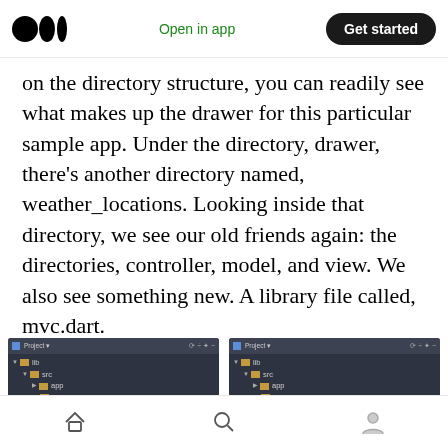Medium logo | Open in app | Get started
on the directory structure, you can readily see what makes up the drawer for this particular sample app. Under the directory, drawer, there’s another directory named, weather_locations. Looking inside that directory, we see our old friends again: the directories, controller, model, and view. We also see something new. A library file called, mvc.dart.
[Figure (screenshot): IDE Project panel showing directory tree with lib > src > app and home folders]
[Figure (screenshot): Second IDE Project panel showing directory tree with lib > src > app and home folders]
Home | Search | Profile navigation icons